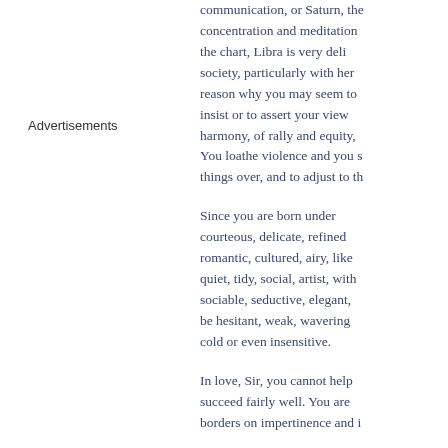Advertisements
communication, or Saturn, the concentration and meditation the chart, Libra is very deli society, particularly with her reason why you may seem to insist or to assert your view harmony, of rally and equity, You loathe violence and you s things over, and to adjust to th
Since you are born under courteous, delicate, refined romantic, cultured, airy, like quiet, tidy, social, artist, with sociable, seductive, elegant, be hesitant, weak, wavering cold or even insensitive.
In love, Sir, you cannot help succeed fairly well. You are borders on impertinence and i